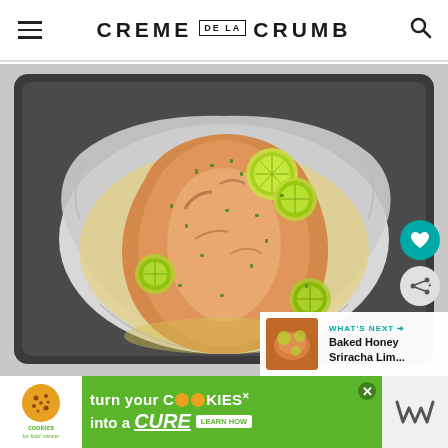CREME DE LA CRUMB
[Figure (photo): A whole salmon fillet baked in foil on a dark baking sheet, garnished with lime slices and chopped herbs, with golden butter sauce visible around the fish. The foil is opened up to expose the fish from an overhead perspective on a light gray surface.]
WHAT'S NEXT → Baked Honey Sriracha Lim...
[Figure (advertisement): Cookies for Kids' Cancer advertisement with green background. Shows a cookie logo with text: 'turn your COOKIES into a CURE LEARN HOW'. Right side shows a Wilton brand logo.]